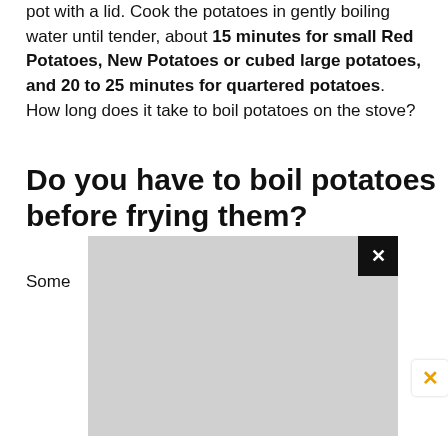pot with a lid. Cook the potatoes in gently boiling water until tender, about 15 minutes for small Red Potatoes, New Potatoes or cubed large potatoes, and 20 to 25 minutes for quartered potatoes. How long does it take to boil potatoes on the stove?
Do you have to boil potatoes before frying them?
Some ... before frying ...
[Figure (screenshot): Gray advertisement overlay with black close button (X) in upper right corner, and a secondary orange X close button in the lower right corner]